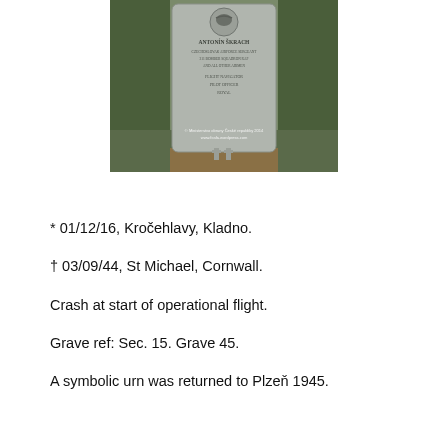[Figure (photo): A gravestone photographed outdoors among grass and leaves. The stone has an emblem at the top and text inscription including a name and details. Watermark text reads: Ministerstvo obrany České republiky 2014, www.fcafa.wordpress.com]
* 01/12/16, Kročehlavy, Kladno.
† 03/09/44, St Michael, Cornwall.
Crash at start of operational flight.
Grave ref: Sec. 15. Grave 45.
A symbolic urn was returned to Plzeň 1945.